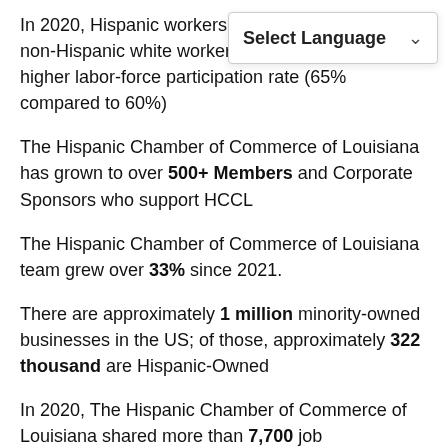In 2020, Hispanic workers made 24.7% less than non-Hispanic white workers, despite having a higher labor-force participation rate (65% compared to 60%)
The Hispanic Chamber of Commerce of Louisiana has grown to over 500+ Members and Corporate Sponsors who support HCCL
The Hispanic Chamber of Commerce of Louisiana team grew over 33% since 2021.
There are approximately 1 million minority-owned businesses in the US; of those, approximately 322 thousand are Hispanic-Owned
In 2020, The Hispanic Chamber of Commerce of Louisiana shared more than 7,700 job opportunities and more than 230 procurement opportunities